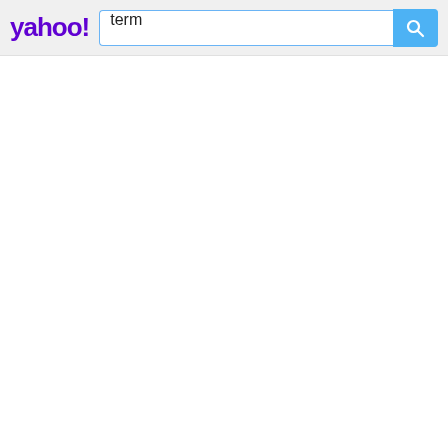[Figure (screenshot): Yahoo search interface screenshot showing the Yahoo logo in purple on the left, a search input box containing the word 'term', and a blue search button with a magnifying glass icon on the right. Below the header is a white empty page.]